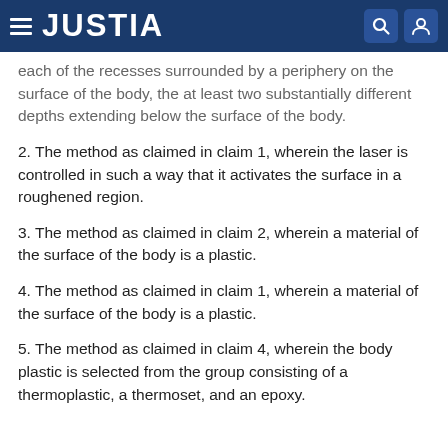JUSTIA
each of the recesses surrounded by a periphery on the surface of the body, the at least two substantially different depths extending below the surface of the body.
2. The method as claimed in claim 1, wherein the laser is controlled in such a way that it activates the surface in a roughened region.
3. The method as claimed in claim 2, wherein a material of the surface of the body is a plastic.
4. The method as claimed in claim 1, wherein a material of the surface of the body is a plastic.
5. The method as claimed in claim 4, wherein the body plastic is selected from the group consisting of a thermoplastic, a thermoset, and an epoxy.